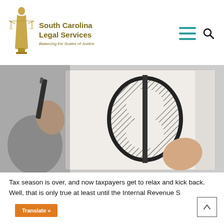South Carolina Legal Services — Balancing the Scales of Justice
[Figure (photo): Hands drawing a dollar sign on a notepad with a black marker]
Tax season is over, and now taxpayers get to relax and kick back. Well, that is only true at least until the Internal Revenue S[ervice] "randomly" starts auditing tax returns. For South